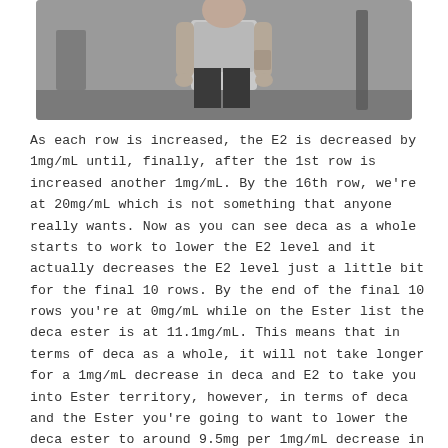[Figure (photo): Person standing in a gym wearing a grey t-shirt and black pants, with tattoos visible on their arm.]
As each row is increased, the E2 is decreased by 1mg/mL until, finally, after the 1st row is increased another 1mg/mL. By the 16th row, we're at 20mg/mL which is not something that anyone really wants. Now as you can see deca as a whole starts to work to lower the E2 level and it actually decreases the E2 level just a little bit for the final 10 rows. By the end of the final 10 rows you're at 0mg/mL while on the Ester list the deca ester is at 11.1mg/mL. This means that in terms of deca as a whole, it will not take longer for a 1mg/mL decrease in deca and E2 to take you into Ester territory, however, in terms of deca and the Ester you're going to want to lower the deca ester to around 9.5mg per 1mg/mL decrease in deca.